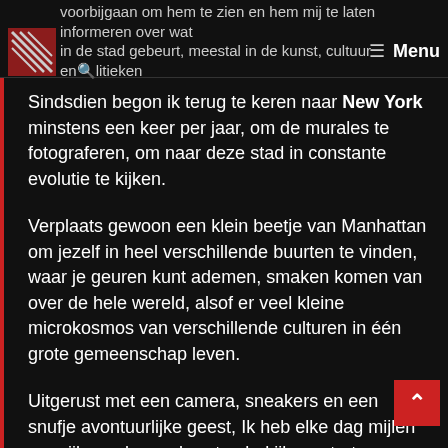voorbijgaan om hem te zien en hem mij te laten informeren over wat in de stad gebeurt, meestal in de kunst, cultuur en politiek
Sindsdien begon ik terug te keren naar New York minstens een keer per jaar, om de murales te fotograferen, om naar deze stad in constante evolutie te kijken.
Verplaats gewoon een klein beetje van Manhattan om jezelf in heel verschillende buurten te vinden, waar je geuren kunt ademen, smaken komen van over de hele wereld, alsof er veel kleine microkosmos van verschillende culturen in één grote gemeenschap leven.
Uitgerust met een camera, sneakers en een snufje avontuurlijke geest, Ik heb elke dag mijlen en mijlen gelopen, buurten bekijken, straten, mensen, gezichten en geschilderde muren die in som opzichten emblematisch waren, in staat om mij trillingen te g zowel in positieve als negatieve zin.